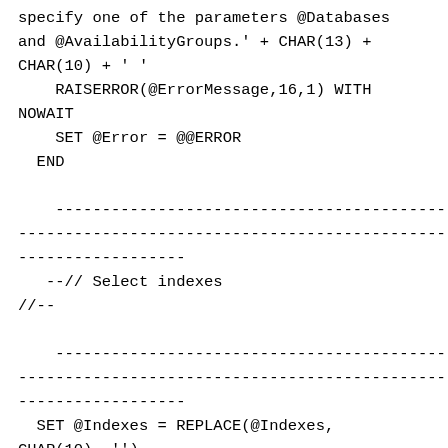specify one of the parameters @Databases
and @AvailabilityGroups.' + CHAR(13) +
CHAR(10) + ' '
    RAISERROR(@ErrorMessage,16,1) WITH
NOWAIT
    SET @Error = @@ERROR
  END

    ----------------------------------------------
----------------------------------------------
------------------
   --// Select indexes
//--

    ----------------------------------------------
----------------------------------------------
------------------
  SET @Indexes = REPLACE(@Indexes,
CHAR(10), '')